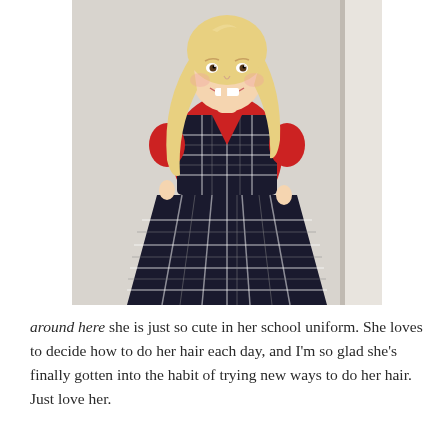[Figure (photo): A young girl with long blonde hair smiling at the camera. She is wearing a dark navy/black plaid sleeveless dress over a red short-sleeve polo shirt. She is standing in front of a light-colored wall near a door or window frame.]
around here she is just so cute in her school uniform. She loves to decide how to do her hair each day, and I'm so glad she's finally gotten into the habit of trying new ways to do her hair. Just love her.